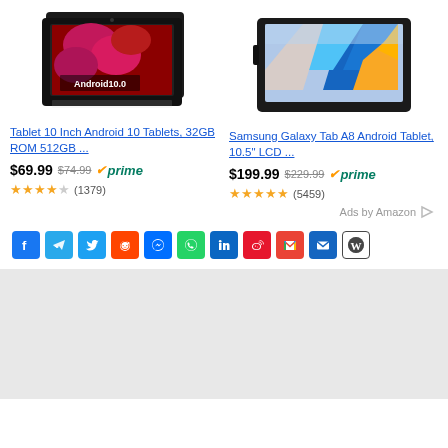[Figure (photo): Android 10.0 tablet product image showing a black tablet with colorful flower display]
[Figure (photo): Samsung Galaxy Tab A8 product image showing tablet with colorful feathers on display]
Tablet 10 Inch Android 10 Tablets, 32GB ROM 512GB ...
Samsung Galaxy Tab A8 Android Tablet, 10.5" LCD ...
$69.99 $74.99 prime
$199.99 $229.99 prime
★★★★☆ (1379)
★★★★★ (5459)
Ads by Amazon
[Figure (infographic): Social sharing icons row: Facebook, Telegram, Twitter, Reddit, Messenger, WhatsApp, LinkedIn, Weibo, Gmail, Email, WordPress]